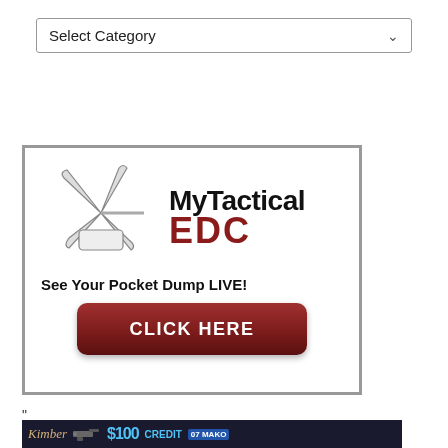[Figure (other): Dropdown selector labeled 'Select Category' with a downward arrow]
[Figure (infographic): MyTactical EDC advertisement banner with Swiss Army knife logo, text 'See Your Pocket Dump LIVE!' and a dark red 'CLICK HERE' button]
"
[Figure (infographic): Kimber firearms advertisement with $100 credit offer and Mako branding on dark background]